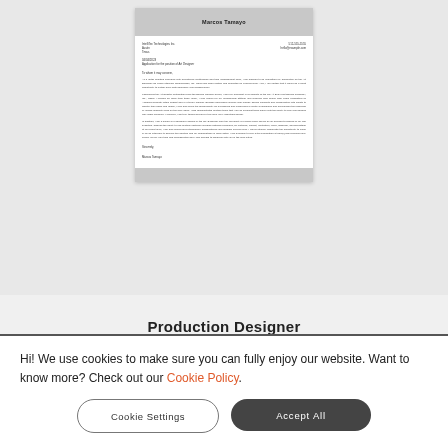[Figure (screenshot): Preview of a cover letter document for Marcos Tamayo, Production Designer, showing letterhead, contact info, subject line, salutation, body paragraphs, and closing signature.]
Marcos Tamayo
Production Designer
Hi! We use cookies to make sure you can fully enjoy our website. Want to know more? Check out our Cookie Policy.
Cookie Settings
Accept All